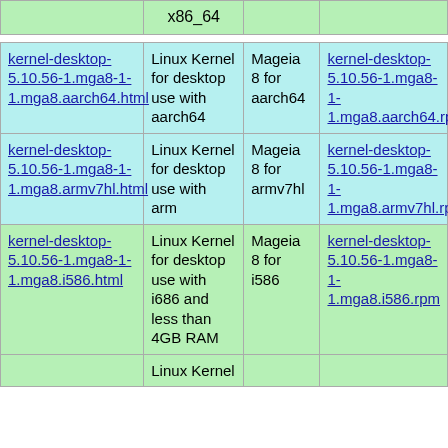|  |  |  |  |
| --- | --- | --- | --- |
| x86_64 |  |  |  |
| kernel-desktop-5.10.56-1.mga8-1-1.mga8.aarch64.html | Linux Kernel for desktop use with aarch64 | Mageia 8 for aarch64 | kernel-desktop-5.10.56-1.mga8-1-1.mga8.aarch64.rpm |
| kernel-desktop-5.10.56-1.mga8-1-1.mga8.armv7hl.html | Linux Kernel for desktop use with arm | Mageia 8 for armv7hl | kernel-desktop-5.10.56-1.mga8-1-1.mga8.armv7hl.rpm |
| kernel-desktop-5.10.56-1.mga8-1-1.mga8.i586.html | Linux Kernel for desktop use with i686 and less than 4GB RAM | Mageia 8 for i586 | kernel-desktop-5.10.56-1.mga8-1-1.mga8.i586.rpm |
|  | Linux Kernel |  |  |